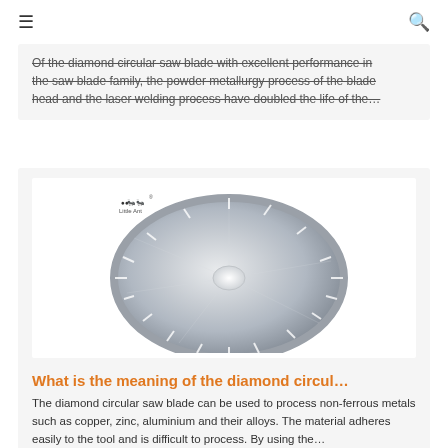≡  🔍
Of the diamond circular saw blade with excellent performance in the saw blade family, the powder metallurgy process of the blade head and the laser welding process have doubled the life of the…
[Figure (photo): A diamond circular saw blade (disc) shown from above, silver metallic finish with a small central hole and radial slot markings around the rim. Little Ant brand logo visible in upper left of image.]
What is the meaning of the diamond circul…
The diamond circular saw blade can be used to process non-ferrous metals such as copper, zinc, aluminium and their alloys. The material adheres easily to the tool and is difficult to process. By using the…